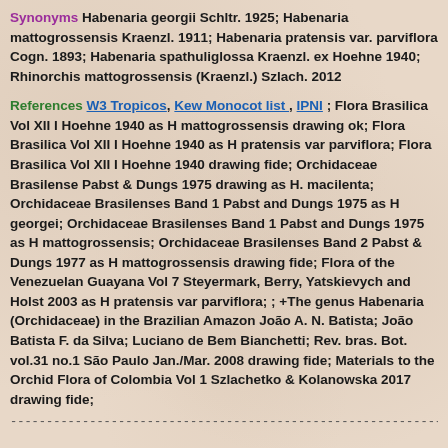Synonyms Habenaria georgii Schltr. 1925; Habenaria mattogrossensis Kraenzl. 1911; Habenaria pratensis var. parviflora Cogn. 1893; Habenaria spathuliglossa Kraenzl. ex Hoehne 1940; Rhinorchis mattogrossensis (Kraenzl.) Szlach. 2012
References W3 Tropicos, Kew Monocot list , IPNI ; Flora Brasilica Vol XII I Hoehne 1940 as H mattogrossensis drawing ok; Flora Brasilica Vol XII I Hoehne 1940 as H pratensis var parviflora; Flora Brasilica Vol XII I Hoehne 1940 drawing fide; Orchidaceae Brasilense Pabst & Dungs 1975 drawing as H. macilenta; Orchidaceae Brasilenses Band 1 Pabst and Dungs 1975 as H georgei; Orchidaceae Brasilenses Band 1 Pabst and Dungs 1975 as H mattogrossensis; Orchidaceae Brasilenses Band 2 Pabst & Dungs 1977 as H mattogrossensis drawing fide; Flora of the Venezuelan Guayana Vol 7 Steyermark, Berry, Yatskievych and Holst 2003 as H pratensis var parviflora; ; +The genus Habenaria (Orchidaceae) in the Brazilian Amazon João A. N. Batista; João Batista F. da Silva; Luciano de Bem Bianchetti; Rev. bras. Bot. vol.31 no.1 São Paulo Jan./Mar. 2008 drawing fide; Materials to the Orchid Flora of Colombia Vol 1 Szlachetko & Kolanowska 2017 drawing fide;
--------------------------------------------------------------------------------------------